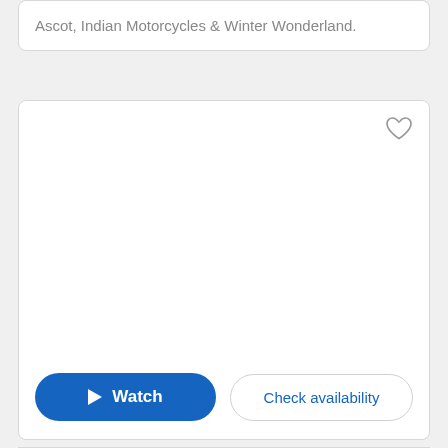Ascot, Indian Motorcycles & Winter Wonderland.
[Figure (other): Card with heart/favorite icon, blank content area, Watch button and Check availability button]
Watch
Check availability